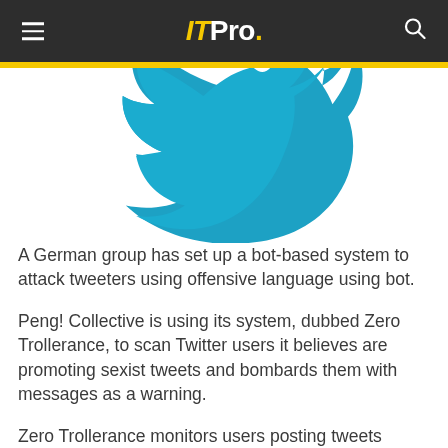IT Pro.
[Figure (logo): Twitter bird logo in teal/cyan color, partially cropped at top, on white background]
A German group has set up a bot-based system to attack tweeters using offensive language using bot.
Peng! Collective is using its system, dubbed Zero Trollerance, to scan Twitter users it believes are promoting sexist tweets and bombards them with messages as a warning.
Zero Trollerance monitors users posting tweets